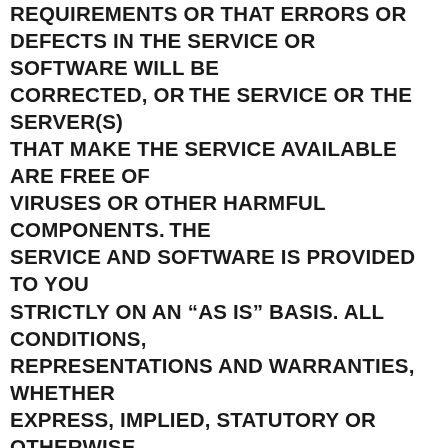REQUIREMENTS OR THAT ERRORS OR DEFECTS IN THE SERVICE OR SOFTWARE WILL BE CORRECTED, OR THE SERVICE OR THE SERVER(S) THAT MAKE THE SERVICE AVAILABLE ARE FREE OF VIRUSES OR OTHER HARMFUL COMPONENTS. THE SERVICE AND SOFTWARE IS PROVIDED TO YOU STRICTLY ON AN “AS IS” BASIS. ALL CONDITIONS, REPRESENTATIONS AND WARRANTIES, WHETHER EXPRESS, IMPLIED, STATUTORY OR OTHERWISE, INCLUDING, WITHOUT LIMITATION, ANY IMPLIED WARRANTY OF MERCHANTABILITY, FITNESS FOR A PARTICULAR PURPOSE, OR NON-INFRINGEMENT OF THIRD PARTY RIGHTS, ARE HEREBY DISCLAIMED TO THE MAXIMUM EXTENT PERMITTED BY APPLICABLE LAW BY THE COMPANY. THE COMPANY MAKES NO REPRESENTATION, WARRANTY, OR GUARANTY AS TO THE RELIABILITY, SAFETY, TIMELINESS, QUALITY, SUITABILITY OR AVAILABILITY OF ANY SERVICES, PRODUCTS OR GOODS OBTAINED BY THIRD